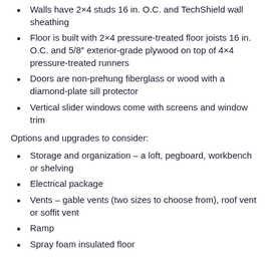Walls have 2×4 studs 16 in. O.C. and TechShield wall sheathing
Floor is built with 2×4 pressure-treated floor joists 16 in. O.C. and 5/8″ exterior-grade plywood on top of 4×4 pressure-treated runners
Doors are non-prehung fiberglass or wood with a diamond-plate sill protector
Vertical slider windows come with screens and window trim
Options and upgrades to consider:
Storage and organization – a loft, pegboard, workbench or shelving
Electrical package
Vents – gable vents (two sizes to choose from), roof vent or soffit vent
Ramp
Spray foam insulated floor